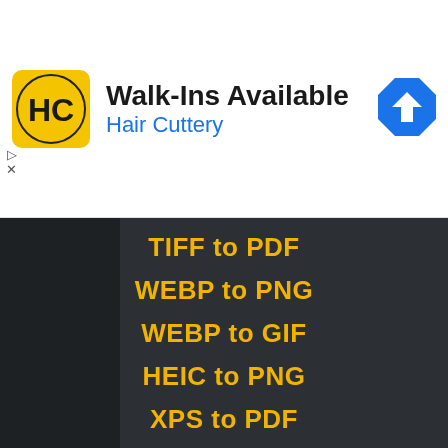[Figure (screenshot): Hair Cuttery advertisement banner with yellow HC logo, 'Walk-Ins Available' headline, 'Hair Cuttery' subtitle in blue, and a blue navigation arrow icon on the right.]
GBR to PDF (partially visible)
TIFF to PDF
WEBP to PNG
WEBP to GIF
HEIC to PNG
XPS to PDF
BMP to JPG
MP4 to MP3
WAV to MP3
MP4 to WEBM